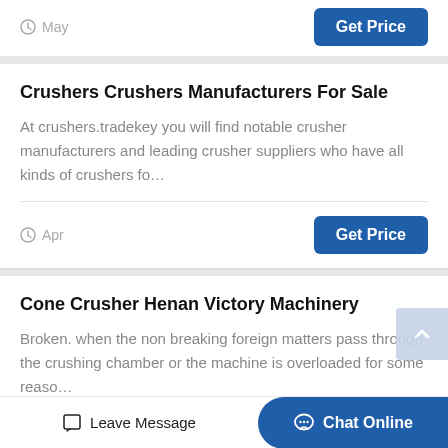May
Get Price
Crushers Crushers Manufacturers For Sale
At crushers.tradekey you will find notable crusher manufacturers and leading crusher suppliers who have all kinds of crushers fo…
Apr
Get Price
Cone Crusher Henan Victory Machinery
Broken. when the non breaking foreign matters pass through the crushing chamber or the machine is overloaded for some reaso…
Leave Message
Chat Online